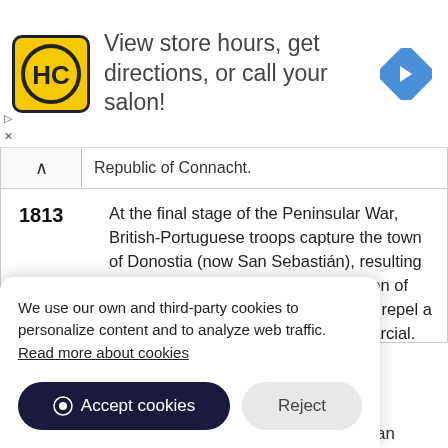[Figure (screenshot): Advertisement banner for HC (hair salon) with yellow logo, text 'View store hours, get directions, or call your salon!' and a blue navigation arrow icon]
Republic of Connacht.
| Year | Description |
| --- | --- |
| 1813 | At the final stage of the Peninsular War, British-Portuguese troops capture the town of Donostia (now San Sebastián), resulting in a rampage and eventual destruction of the town. Elsewhere, Spanish troops repel a French attack in the Battle of San Marcial. |
We use our own and third-party cookies to personalize content and to analyze web traffic. Read more about cookies
Accept cookies
Reject
2011